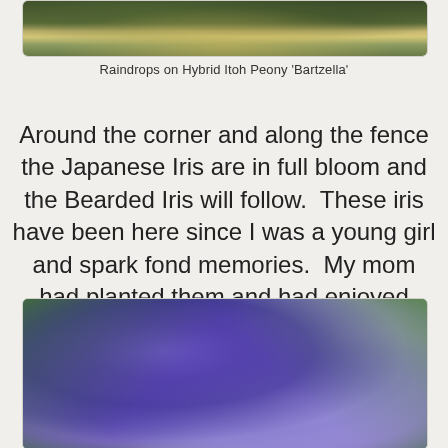[Figure (photo): Top portion of a photo showing raindrops on Hybrid Itoh Peony 'Bartzella' — yellow-green foliage visible, partially cropped at top of page]
Raindrops on Hybrid Itoh Peony 'Bartzella'
Around the corner and along the fence the Japanese Iris are in full bloom and the Bearded Iris will follow.  These iris have been here since I was a young girl and spark fond memories.  My mom had planted them and had enjoyed them for years.
[Figure (photo): Close-up photograph of purple Japanese Iris flowers in full bloom with green foliage in background]